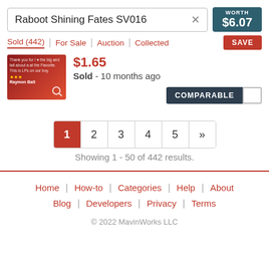Raboot Shining Fates SV016 × WORTH $6.07
Sold (442) | For Sale | Auction | Collected | SAVE
[Figure (photo): Thumbnail of a Pokémon card with red background, stars and Raboot text visible, with a search magnifier icon overlay]
$1.65 (partially visible price)
Sold - 10 months ago
COMPARABLE (with checkbox)
1  2  3  4  5  »  (pagination)
Showing 1 - 50 of 442 results.
Home | How-to | Categories | Help | About | Blog | Developers | Privacy | Terms | © 2022 MavinWorks LLC